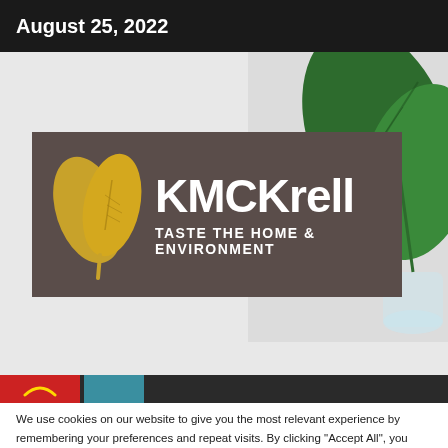August 25, 2022
[Figure (logo): KMCKrell logo with golden leaf icon and tagline 'TASTE THE HOME & ENVIRONMENT' on a dark brown background, overlaid on a plant/nature hero image]
We use cookies on our website to give you the most relevant experience by remembering your preferences and repeat visits. By clicking "Accept All", you consent to the use of ALL the cookies. However, you may visit "Cookie Settings" to provide a controlled consent.